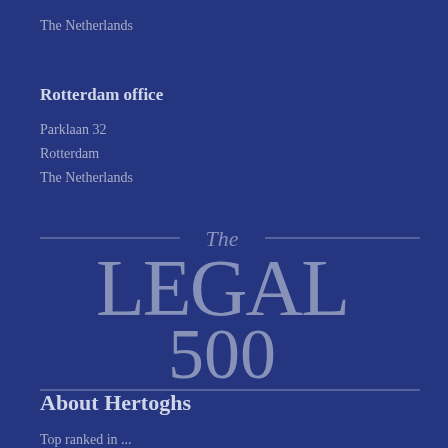The Netherlands
Rotterdam office
Parklaan 32
Rotterdam
The Netherlands
[Figure (logo): The Legal 500 logo in silver/grey on dark navy background, with decorative horizontal lines above and below. Features italic 'The' at top, large serif 'LEGAL' text, and '500' below.]
About Hertoghs
Top ranked in ...